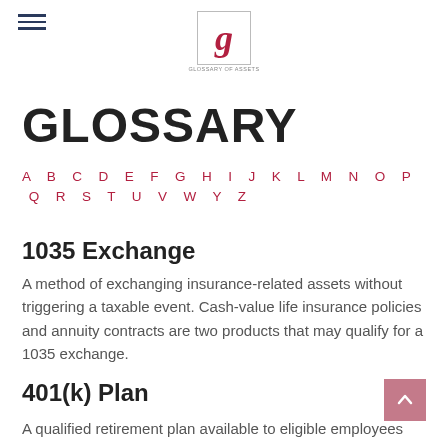Glossary header with hamburger menu and logo
GLOSSARY
A B C D E F G H I J K L M N O P Q R S T U V W Y Z
1035 Exchange
A method of exchanging insurance-related assets without triggering a taxable event. Cash-value life insurance policies and annuity contracts are two products that may qualify for a 1035 exchange.
401(k) Plan
A qualified retirement plan available to eligible employees